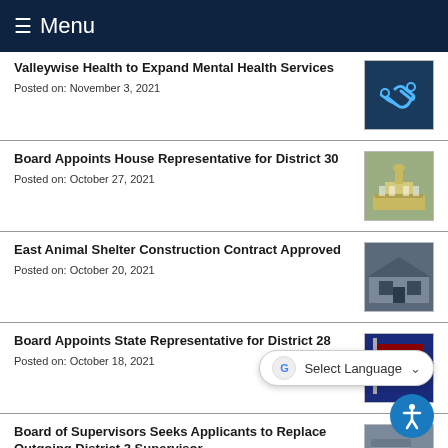Menu
Valleywise Health to Expand Mental Health Services
Posted on: November 3, 2021
Board Appoints House Representative for District 30
Posted on: October 27, 2021
East Animal Shelter Construction Contract Approved
Posted on: October 20, 2021
Board Appoints State Representative for District 28
Posted on: October 18, 2021
Board of Supervisors Seeks Applicants to Replace Outgoing District 2 Supervisor
Posted on: October 12, 2021